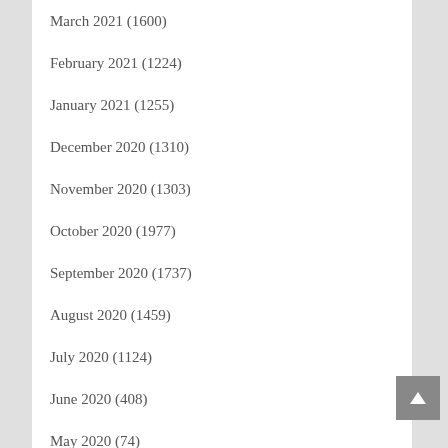March 2021 (1600)
February 2021 (1224)
January 2021 (1255)
December 2020 (1310)
November 2020 (1303)
October 2020 (1977)
September 2020 (1737)
August 2020 (1459)
July 2020 (1124)
June 2020 (408)
May 2020 (74)
April 2020 (35)
March 2020 (22)
February 2020 (12)